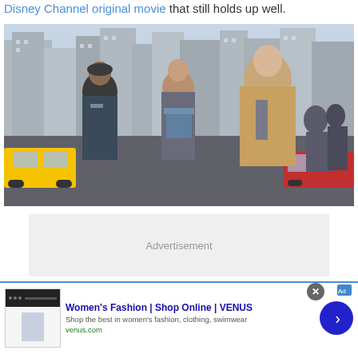Disney Channel original movie that still holds up well.
[Figure (photo): Three people (two men and a woman) standing on a busy New York City street, looking upward with concerned expressions. The man on the left wears a hoodie and baseball cap, the woman in the middle wears a blue scarf and checkered coat, and the man on the right wears a tan jacket and tie.]
Advertisement
Women's Fashion | Shop Online | VENUS
Shop the best in women's fashion, clothing, swimwear
venus.com